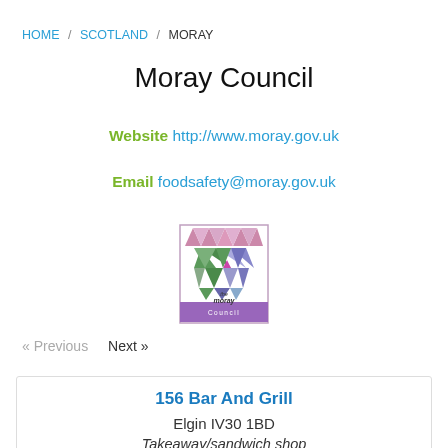HOME / SCOTLAND / MORAY
Moray Council
Website http://www.moray.gov.uk
Email foodsafety@moray.gov.uk
[Figure (logo): The Moray Council logo — geometric triangle pattern in green, blue, and pink above the text 'the moray Council' on a purple/lavender banner]
« Previous   Next »
156 Bar And Grill
Elgin IV30 1BD
Takeaway/sandwich shop